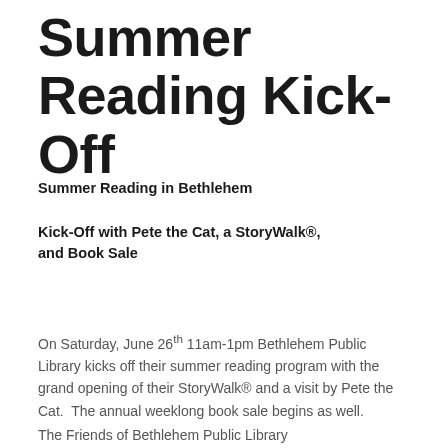Summer Reading Kick-Off
Summer Reading in Bethlehem
Kick-Off with Pete the Cat, a StoryWalk®, and Book Sale
On Saturday, June 26th 11am-1pm Bethlehem Public Library kicks off their summer reading program with the grand opening of their StoryWalk® and a visit by Pete the Cat.  The annual weeklong book sale begins as well.
The Friends of Bethlehem Public Library